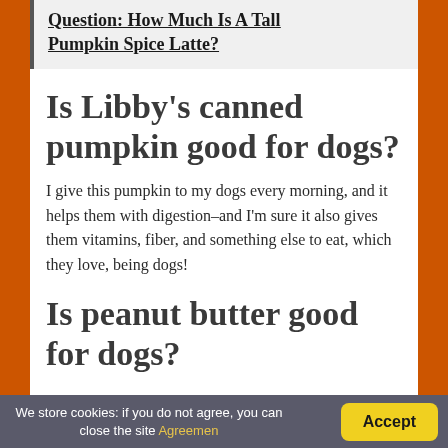Question: How Much Is A Tall Pumpkin Spice Latte?
Is Libby's canned pumpkin good for dogs?
I give this pumpkin to my dogs every morning, and it helps them with digestion–and I'm sure it also gives them vitamins, fiber, and something else to eat, which they love, being dogs!
Is peanut butter good for dogs?
We store cookies: if you do not agree, you can close the site Agreemen